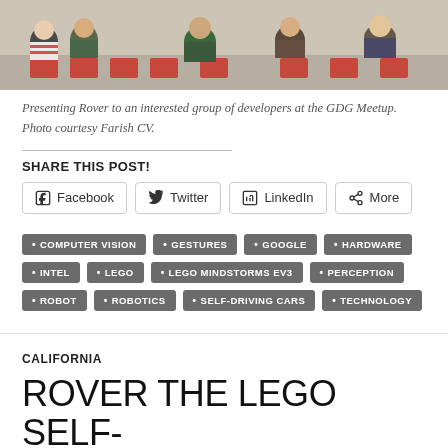[Figure (photo): Photo of students/developers sitting in chairs viewed from behind, at the GDG Meetup]
Presenting Rover to an interested group of developers at the GDG Meetup. Photo courtesy Farish CV.
SHARE THIS POST!
Facebook
Twitter
LinkedIn
More
COMPUTER VISION
GESTURES
GOOGLE
HARDWARE
INTEL
LEGO
LEGO MINDSTORMS EV3
PERCEPTION
ROBOT
ROBOTICS
SELF-DRIVING CARS
TECHNOLOGY
CALIFORNIA
ROVER THE LEGO SELF-